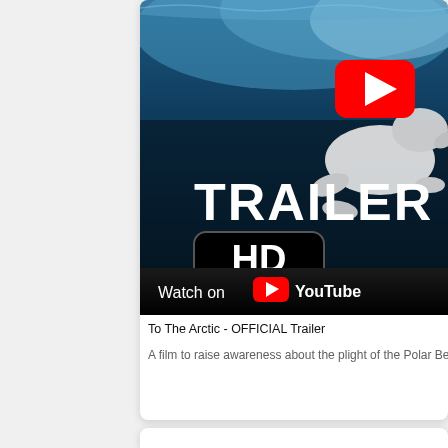[Figure (screenshot): YouTube video thumbnail showing a polar bear swimming underwater with text 'TRAILER HD' overlaid. A red YouTube play button is visible in the center-right. The bottom bar shows 'Watch on YouTube' with the YouTube logo. The video is titled 'To The Arctic - OFFICIAL Trailer'.]
To The Arctic - OFFICIAL Trailer
A film to raise awareness about the plight of the Polar Bear due to Cl